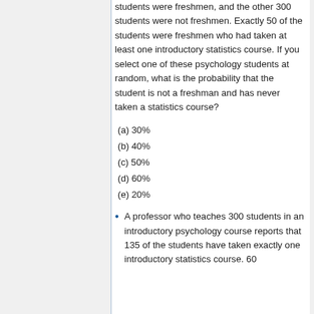students were freshmen, and the other 300 students were not freshmen. Exactly 50 of the students were freshmen who had taken at least one introductory statistics course. If you select one of these psychology students at random, what is the probability that the student is not a freshman and has never taken a statistics course?
(a) 30%
(b) 40%
(c) 50%
(d) 60%
(e) 20%
A professor who teaches 300 students in an introductory psychology course reports that 135 of the students have taken exactly one introductory statistics course. 60